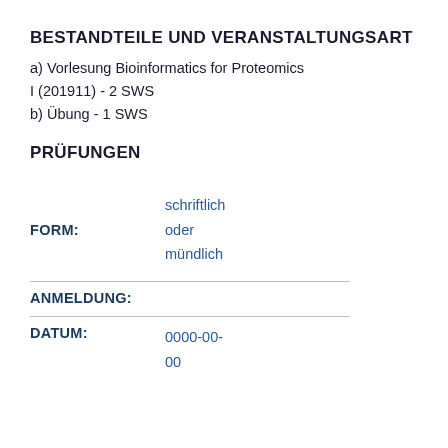BESTANDTEILE UND VERANSTALTUNGSART
a) Vorlesung Bioinformatics for Proteomics
I (201911) - 2 SWS
b) Übung - 1 SWS
PRÜFUNGEN
FORM: schriftlich oder mündlich
ANMELDUNG:
DATUM: 0000-00-00